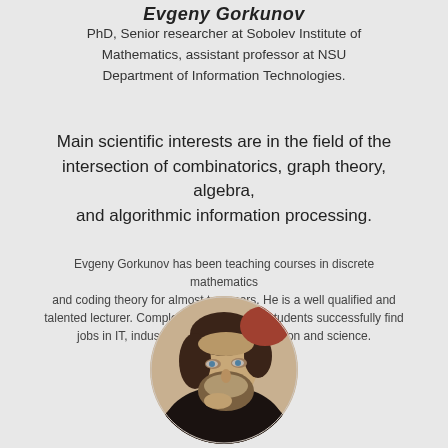Evgeny Gorkunov
PhD, Senior researcher at Sobolev Institute of Mathematics, assistant professor at NSU Department of Information Technologies.
Main scientific interests are in the field of the intersection of combinatorics, graph theory, algebra, and algorithmic information processing.
Evgeny Gorkunov has been teaching courses in discrete mathematics and coding theory for almost ten years. He is a well qualified and talented lecturer. Completing his courses, students successfully find jobs in IT, industry, engineering, education and science.
[Figure (photo): Circular cropped portrait photo of Evgeny Gorkunov, a man with a beard and long hair, resting his chin on his hand in a thoughtful pose.]